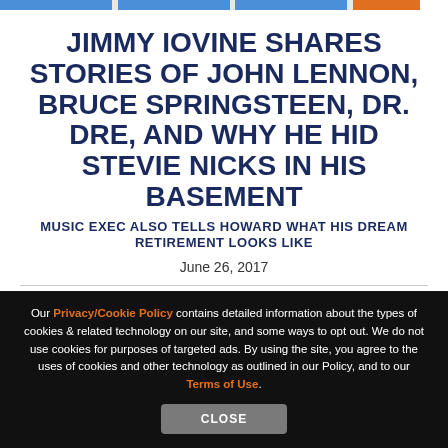JIMMY IOVINE SHARES STORIES OF JOHN LENNON, BRUCE SPRINGSTEEN, DR. DRE, AND WHY HE HID STEVIE NICKS IN HIS BASEMENT
MUSIC EXEC ALSO TELLS HOWARD WHAT HIS DREAM RETIREMENT LOOKS LIKE
June 26, 2017
[Figure (infographic): Social sharing buttons: Facebook (blue), Twitter (light blue), Reddit (orange), Email (blue), Link/copy (gray)]
Our Privacy/Cookie Policy contains detailed information about the types of cookies & related technology on our site, and some ways to opt out. We do not use cookies for purposes of targeted ads. By using the site, you agree to the uses of cookies and other technology as outlined in our Policy, and to our Terms of Use.
Close